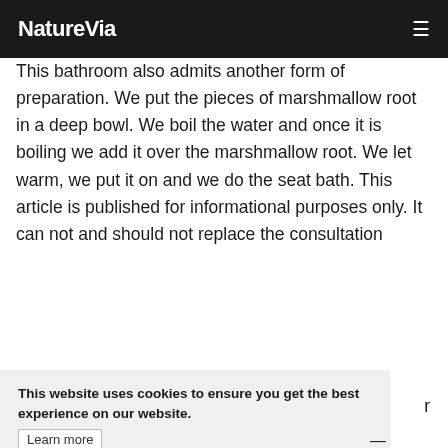NatureVia
This bathroom also admits another form of preparation. We put the pieces of marshmallow root in a deep bowl. We boil the water and once it is boiling we add it over the marshmallow root. We let warm, we put it on and we do the seat bath. This article is published for informational purposes only. It can not and should not replace the consultation
This website uses cookies to ensure you get the best experience on our website.
Learn more